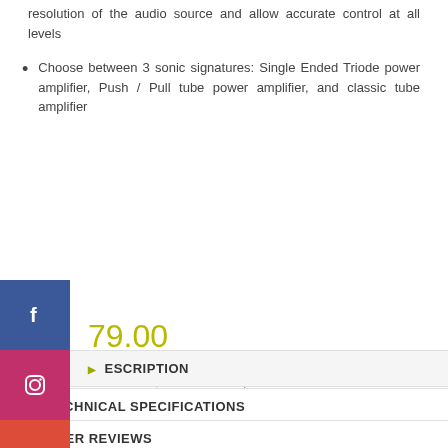resolution of the audio source and allow accurate control at all levels
Choose between 3 sonic signatures: Single Ended Triode power amplifier, Push / Pull tube power amplifier, and classic tube amplifier
79.00
to Wishlist | Add to Compare
are
DESCRIPTION
TECHNICAL SPECIFICATIONS
USER REVIEWS